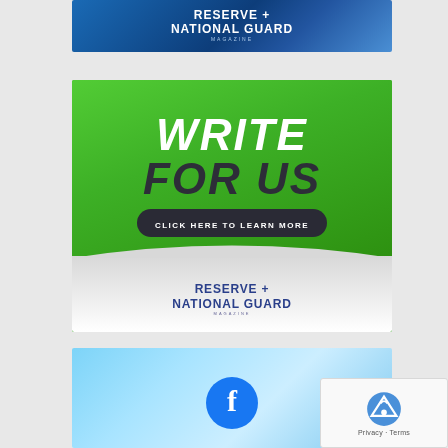[Figure (illustration): Reserve + National Guard Magazine banner with blue gradient background and white bold text]
[Figure (illustration): Write For Us banner with green background, bold white WRITE and dark FOR US text, Click Here To Learn More button, and Reserve + National Guard Magazine logo at bottom]
[Figure (illustration): Facebook promotional banner with light blue gradient background and Facebook logo circle icon]
[Figure (illustration): reCAPTCHA widget overlay with logo and Privacy/Terms links]